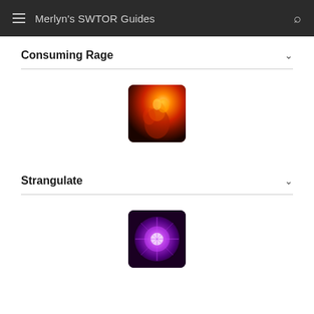Merlyn's SWTOR Guides
Consuming Rage
[Figure (illustration): Skill icon for Consuming Rage - a fiery orange and red image depicting a figure engulfed in flames]
Strangulate
[Figure (illustration): Skill icon for Strangulate - a purple and white glowing image depicting a force choke ability]